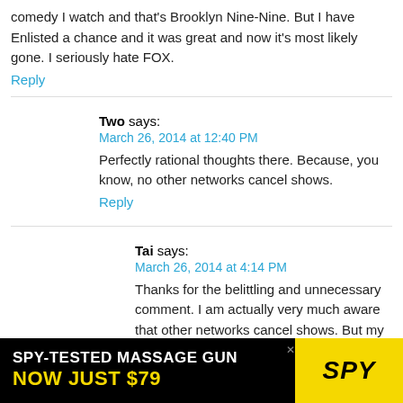comedy I watch and that's Brooklyn Nine-Nine. But I have Enlisted a chance and it was great and now it's most likely gone. I seriously hate FOX.
Reply
Two says:
March 26, 2014 at 12:40 PM
Perfectly rational thoughts there. Because, you know, no other networks cancel shows.
Reply
Tai says:
March 26, 2014 at 4:14 PM
Thanks for the belittling and unnecessary comment. I am actually very much aware that other networks cancel shows. But my comment was about Enlisted which is on FO...
[Figure (other): Advertisement banner: SPY-TESTED MASSAGE GUN NOW JUST $79 with SPY logo on yellow background]